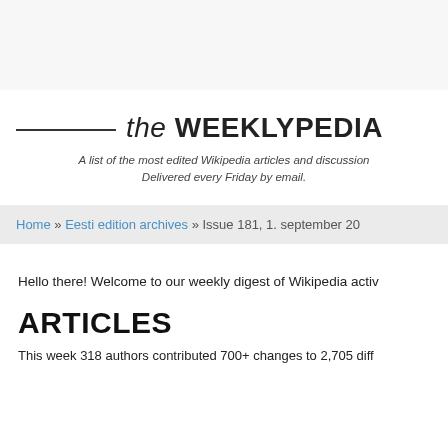the WEEKLYPEDIA
A list of the most edited Wikipedia articles and discussions. Delivered every Friday by email.
Home » Eesti edition archives » Issue 181, 1. september 20...
Hello there! Welcome to our weekly digest of Wikipedia activ...
ARTICLES
This week 318 authors contributed 700+ changes to 2,705 diff...